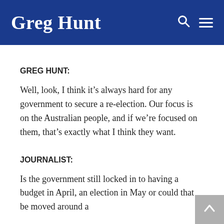Greg Hunt
GREG HUNT:
Well, look, I think it’s always hard for any government to secure a re-election. Our focus is on the Australian people, and if we’re focused on them, that’s exactly what I think they want.
JOURNALIST:
Is the government still locked in to having a budget in April, an election in May or could that be moved around a